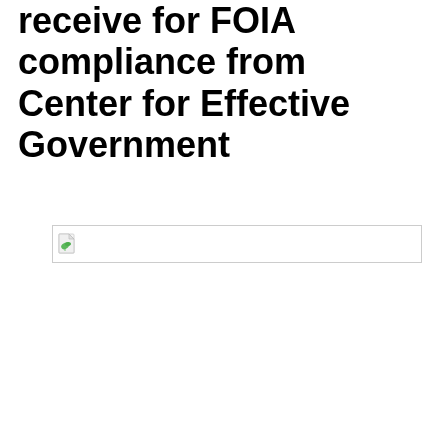receive for FOIA compliance from Center for Effective Government
[Figure (other): Broken/missing image placeholder with small icon]